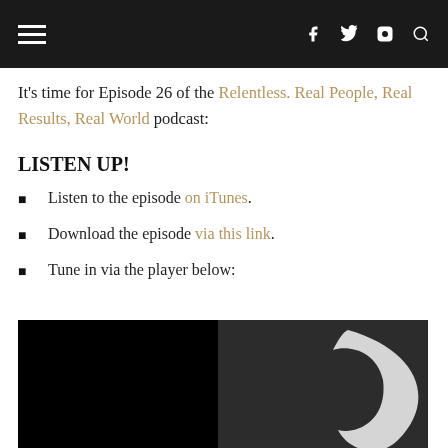≡  f  🐦  📷  🔍
It's time for Episode 26 of the Relentless. Real People, Real Results, Real World podcast:
LISTEN UP!
Listen to the episode on iTunes.
Download the episode via this link.
Tune in via the player below:
[Figure (photo): Dark background image split: left half solid black, right half dark textured surface with a white crescent/lightning bolt graphic symbol visible]